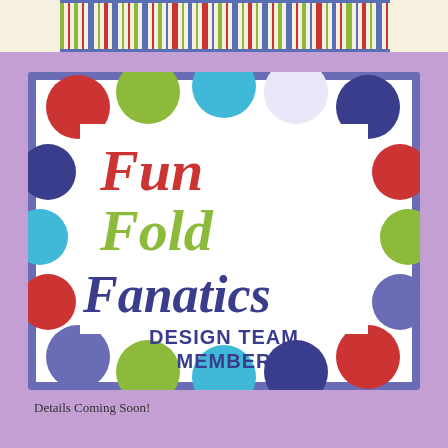[Figure (illustration): Decorative striped header bar with vertical stripes in green, red, blue, and cream colors]
[Figure (logo): Fun Fold Fanatics Design Team Member badge/logo. A white rectangular card with colorful polka dots (red, green, blue, teal, dark blue) arranged as a border around the edges. The text reads 'Fun' in red script, 'Fold' in green script, 'Fanatics' in dark blue script, and 'DESIGN TEAM MEMBER' in bold dark blue sans-serif text below. The card has a blue/purple outer border.]
Details Coming Soon!